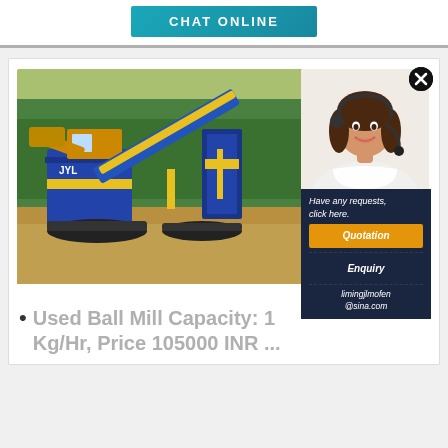CHAT ONLINE
[Figure (photo): Heavy industrial machinery (ball mill / mining equipment) in blue and yellow color, operating outdoors on a dirt field with trees in background. A woman customer service agent with headset is shown in an overlay popup on the right side with options for Quotation, Enquiry, and email contact limingjlmofen@sina.com.]
Used Ball Mill Capacity: 1 Kg/Hr, Price 105000 INR ...